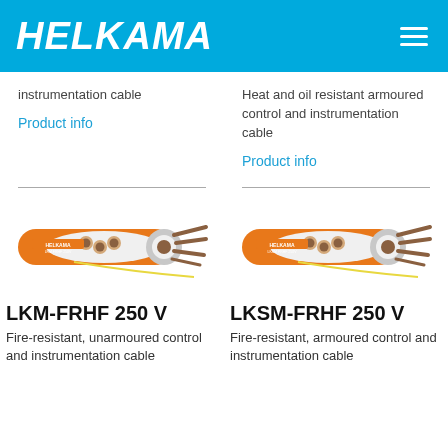HELKAMA
instrumentation cable
Product info
Heat and oil resistant armoured control and instrumentation cable
Product info
[Figure (photo): Orange Helkama LKM-FRHF cable cross-section showing orange outer jacket, internal shielded pairs, and copper conductors]
[Figure (photo): Orange Helkama LKSM-FRHF cable cross-section showing orange outer jacket, armour, internal shielded pairs, and copper conductors]
LKM-FRHF 250 V
LKSM-FRHF 250 V
Fire-resistant, unarmoured control and instrumentation cable
Fire-resistant, armoured control and instrumentation cable